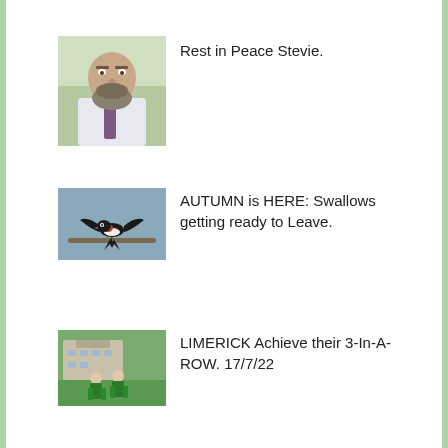[Figure (photo): Portrait photo of an older bearded man wearing a shirt and tie, outdoors.]
Rest in Peace Stevie.
[Figure (photo): Photo of a swallow bird perched on a branch against a blue-grey sky.]
AUTUMN is HERE: Swallows getting ready to Leave.
[Figure (photo): Photo of people in green jerseys on a sports field with a large building in the background.]
LIMERICK Achieve their 3-In-A- ROW. 17/7/22